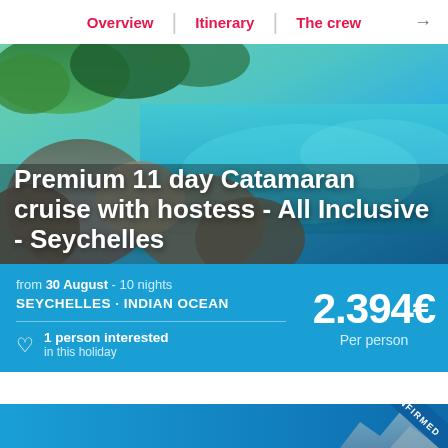Overview | Itinerary | The crew →
[Figure (photo): Aerial/coastal view of Seychelles with granite boulders, tropical vegetation, and turquoise Indian Ocean water]
Premium 11 day Catamaran cruise with hostess - All Inclusive - Seychelles
from 30 August - 10 nights
SEYCHELLES · INDIAN OCEAN
2.394€ Per person
1 person interested in this holiday
[Figure (photo): Blue ocean background with a circular avatar photo of a person on a boat, '23 REVIEWS' badge, and a 'CONFIRMED' diagonal ribbon banner over a mountain/cliff silhouette]